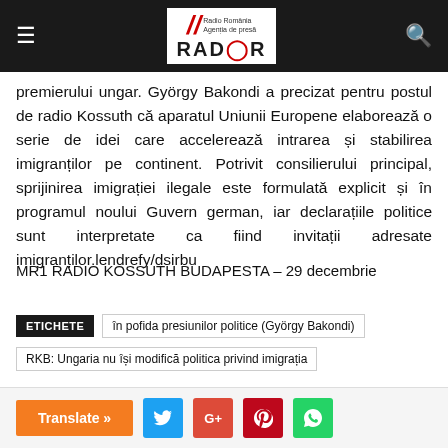Radio România Agenția de presă RADOR
premierului ungar. György Bakondi a precizat pentru postul de radio Kossuth că aparatul Uniunii Europene elaborează o serie de idei care accelerează intrarea și stabilirea imigranților pe continent. Potrivit consilierului principal, sprijinirea imigrației ilegale este formulată explicit și în programul noului Guvern german, iar declarațiile politice sunt interpretate ca fiind invitații adresate imigranților.lendrefy/dsirbu
MR1 RADIO KOSSUTH BUDAPESTA – 29 decembrie
ETICHETE   în pofida presiunilor politice (György Bakondi)   RKB: Ungaria nu își modifică politica privind imigrația
[Figure (other): Translate button and social share buttons (Twitter, Google+, Pinterest, WhatsApp)]